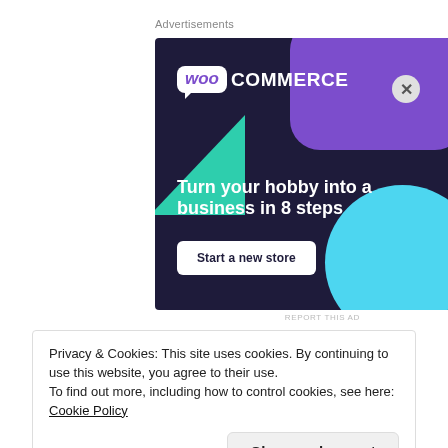Advertisements
[Figure (illustration): WooCommerce advertisement banner with dark navy background, purple blob, green triangle, cyan circle. Text: 'Turn your hobby into a business in 8 steps' with 'Start a new store' button and WooCommerce logo.]
REPORT THIS AD
Privacy & Cookies: This site uses cookies. By continuing to use this website, you agree to their use.
To find out more, including how to control cookies, see here: Cookie Policy
Close and accept